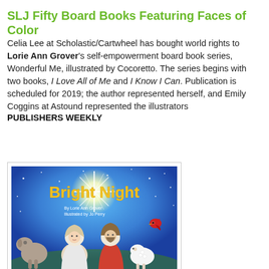SLJ Fifty Board Books Featuring Faces of Color
Celia Lee at Scholastic/Cartwheel has bought world rights to Lorie Ann Grover's self-empowerment board book series, Wonderful Me, illustrated by Cocoretto. The series begins with two books, I Love All of Me and I Know I Can. Publication is scheduled for 2019; the author represented herself, and Emily Coggins at Astound represented the illustrators
PUBLISHERS WEEKLY
[Figure (photo): Book cover of 'Bright Night' by Lorie Ann Grover, illustrated by Jo Perry. Shows cartoon nativity scene figures (Mary, Joseph, a donkey, a lamb, and a cardinal bird) under a bright star on a blue night sky background. Title text in yellow/gold at top.]